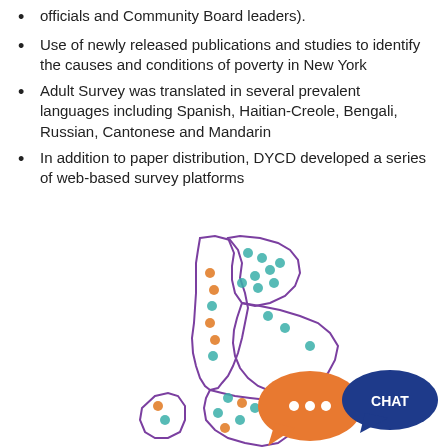officials and Community Board leaders).
Use of newly released publications and studies to identify the causes and conditions of poverty in New York
Adult Survey was translated in several prevalent languages including Spanish, Haitian-Creole, Bengali, Russian, Cantonese and Mandarin
In addition to paper distribution, DYCD developed a series of web-based survey platforms
[Figure (map): Map of New York City boroughs outlined in purple with teal and orange dots indicating survey locations, alongside an orange speech bubble with three dots and a dark blue speech bubble labeled CHAT]